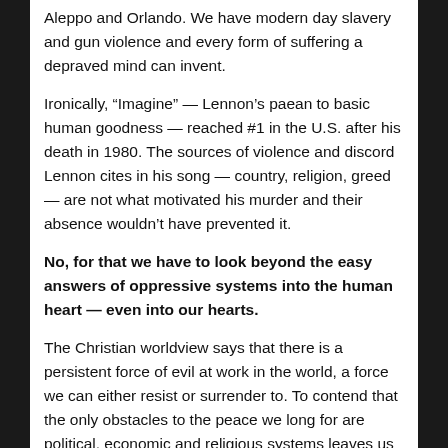Aleppo and Orlando. We have modern day slavery and gun violence and every form of suffering a depraved mind can invent.
Ironically, “Imagine” — Lennon’s paean to basic human goodness — reached #1 in the U.S. after his death in 1980. The sources of violence and discord Lennon cites in his song — country, religion, greed — are not what motivated his murder and their absence wouldn’t have prevented it.
No, for that we have to look beyond the easy answers of oppressive systems into the human heart — even into our hearts.
The Christian worldview says that there is a persistent force of evil at work in the world, a force we can either resist or surrender to. To contend that the only obstacles to the peace we long for are political, economic and religious systems leaves us dangerously vulnerable to the most formidable obstacle of all: Sin.